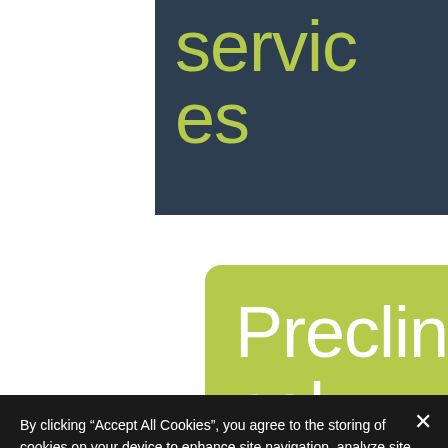services
Preclinical models
By clicking “Accept All Cookies”, you agree to the storing of cookies on your device to enhance site navigation, analyze site usage, & assist in information for our marketing. By clicking on “Cookie Settings”, you can choose to allow or not allow some specific types of cookies. Cookies Policy
Cookies Settings
Accept Cookies